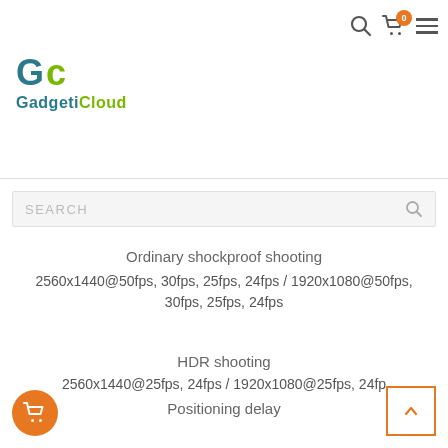GadgetiCloud — navigation header with search and cart icon
[Figure (logo): GadgetiCloud logo — stylized GC letters in teal and green, with brand name GadgetiCloud below]
Ordinary shockproof shooting
2560x1440@50fps, 30fps, 25fps, 24fps / 1920x1080@50fps, 30fps, 25fps, 24fps
HDR shooting
2560x1440@25fps, 24fps / 1920x1080@25fps, 24fp
Positioning delay